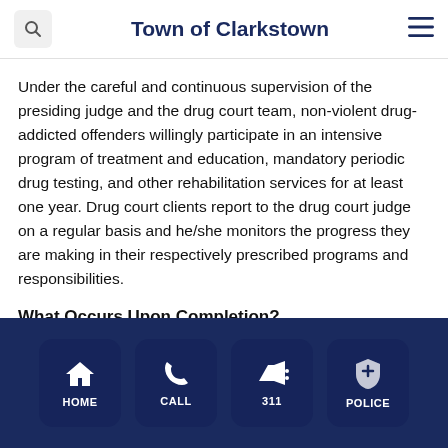Town of Clarkstown
Under the careful and continuous supervision of the presiding judge and the drug court team, non-violent drug-addicted offenders willingly participate in an intensive program of treatment and education, mandatory periodic drug testing, and other rehabilitation services for at least one year. Drug court clients report to the drug court judge on a regular basis and he/she monitors the progress they are making in their respectively prescribed programs and responsibilities.
What Occurs Upon Completion?
[Figure (other): Footer navigation bar with four icon buttons: HOME (house icon), CALL (phone icon), 311 (megaphone icon), POLICE (shield icon), on a dark navy background]